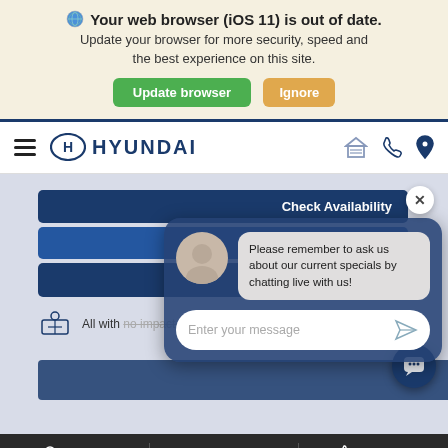🌐 Your web browser (iOS 11) is out of date. Update your browser for more security, speed and the best experience on this site. [Update browser] [Ignore]
[Figure (screenshot): Hyundai dealer website screenshot with navigation bar showing hamburger menu, Hyundai logo, garage icon, phone icon, and location pin icon]
[Figure (screenshot): Hyundai dealer website main content area with dark blue cards showing 'Check Availability', 'Req...' (Request), 'STA...' text sections, and a chat bot popup overlay with avatar, message bubble saying 'Please remember to ask us about our current specials by chatting live with us!' and an 'Enter your message' input field. Also shows 'All with no impact to your credit score' text.]
Search  Share  Contact